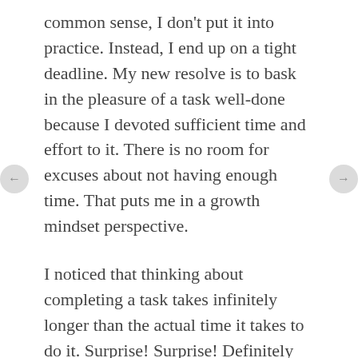common sense, I don't put it into practice. Instead, I end up on a tight deadline. My new resolve is to bask in the pleasure of a task well-done because I devoted sufficient time and effort to it. There is no room for excuses about not having enough time. That puts me in a growth mindset perspective.
I noticed that thinking about completing a task takes infinitely longer than the actual time it takes to do it. Surprise! Surprise! Definitely an argument for tackling things as they come up rather letting them languish in oblivion.
And, unfortunately, I noticed that I was succumbing to a negative attitude by complaining, rather than staying within the